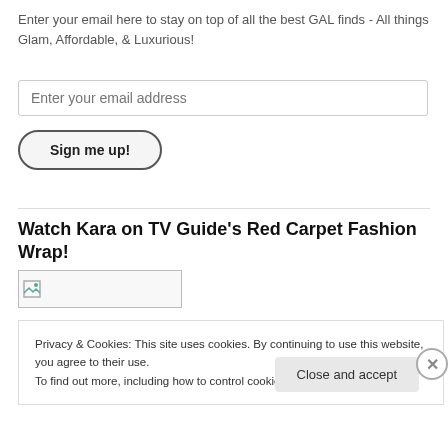Enter your email here to stay on top of all the best GAL finds - All things Glam, Affordable, & Luxurious!
Enter your email address
Sign me up!
Watch Kara on TV Guide’s Red Carpet Fashion Wrap!
[Figure (photo): Broken image placeholder (small image icon)]
Privacy & Cookies: This site uses cookies. By continuing to use this website, you agree to their use.
To find out more, including how to control cookies, see here: Cookie Policy
Close and accept